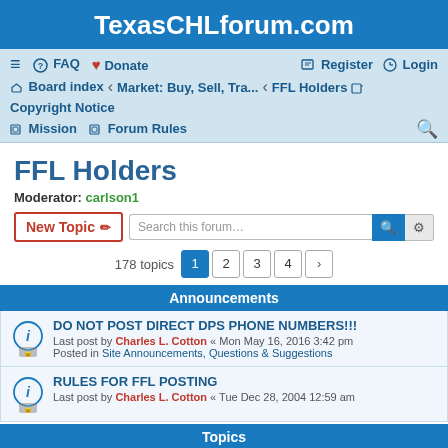TexasCHLforum.com
≡  FAQ  ♥ Donate    Register  Login
Board index · Market: Buy, Sell, Tra... · FFL Holders · Copyright Notice · Mission · Forum Rules
FFL Holders
Moderator: carlson1
New Topic  Search this forum…
178 topics  1  2  3  4  >
Announcements
DO NOT POST DIRECT DPS PHONE NUMBERS!!!
Last post by Charles L. Cotton « Mon May 16, 2016 3:42 pm
Posted in Site Announcements, Questions & Suggestions
RULES FOR FFL POSTING
Last post by Charles L. Cotton « Tue Dec 28, 2004 12:59 am
Topics
SAMPLE: Fri... ...and TX (95 mi...  ...of hou...